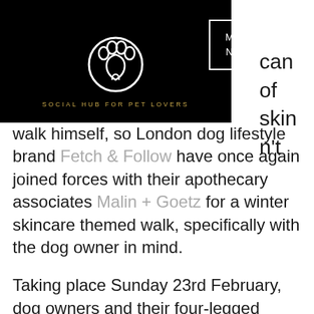Social Hub for Pet Lovers
…can of skin …n't walk himself, so London dog lifestyle brand Fetch & Follow have once again joined forces with their apothecary associates Malin + Goetz for a winter skincare themed walk, specifically with the dog owner in mind.
Taking place Sunday 23rd February, dog owners and their four-legged friends will come together outside Broadway Market's Pavilion Bakery, before making their way to Malin + Goetz's newest store at Boxpark, Shoreditch via Haggerston Park. Once in-store, the knowledgeable team at Malin + Goetz will offer tips and advice…